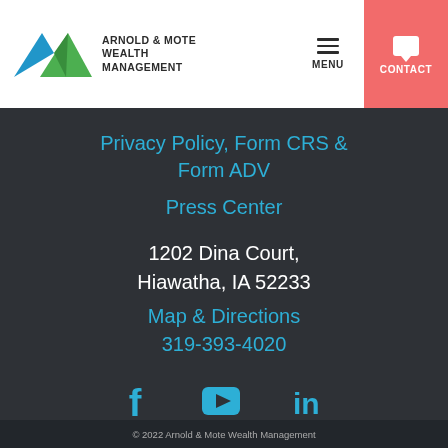Arnold & Mote Wealth Management — MENU | CONTACT
Privacy Policy, Form CRS & Form ADV
Press Center
1202 Dina Court, Hiawatha, IA 52233
Map & Directions
319-393-4020
[Figure (illustration): Social media icons: Facebook, YouTube, LinkedIn in teal/cyan color]
© 2022 Arnold & Mote Wealth Management